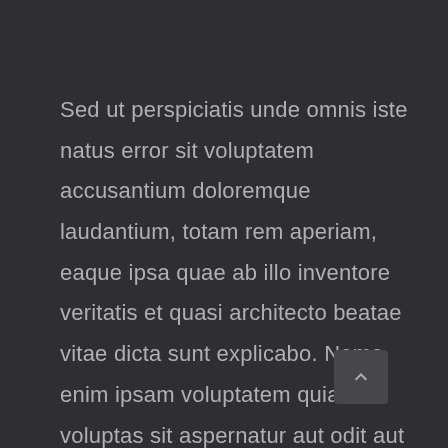Sed ut perspiciatis unde omnis iste natus error sit voluptatem accusantium doloremque laudantium, totam rem aperiam, eaque ipsa quae ab illo inventore veritatis et quasi architecto beatae vitae dicta sunt explicabo. Nemo enim ipsam voluptatem quia voluptas sit aspernatur aut odit aut fugit, sed quia consequuntur magni dolores eos q...